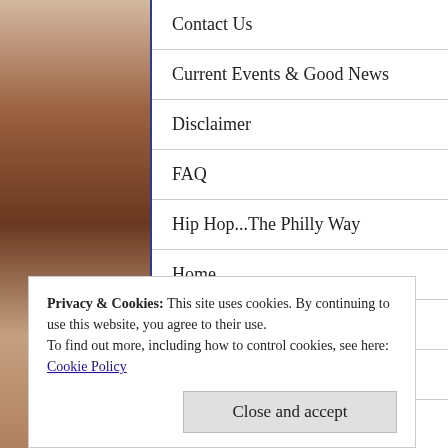[Figure (photo): Background photo of books and items on shelves, with warm brown/red tones on left and right sides. A white navigation panel overlays the center.]
Contact Us
Current Events & Good News
Disclaimer
FAQ
Hip Hop...The Philly Way
Home
In Loving Memory
Login
Privacy & Cookies: This site uses cookies. By continuing to use this website, you agree to their use.
To find out more, including how to control cookies, see here: Cookie Policy
Close and accept